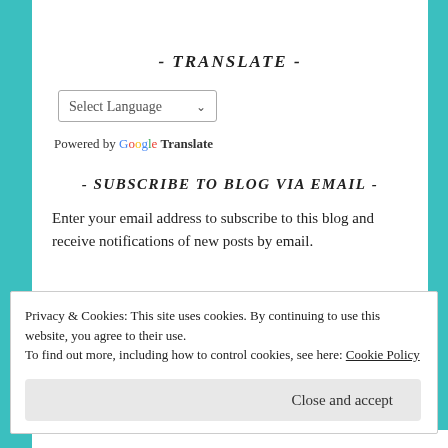- TRANSLATE -
[Figure (screenshot): Select Language dropdown widget with arrow]
Powered by Google Translate
- SUBSCRIBE TO BLOG VIA EMAIL -
Enter your email address to subscribe to this blog and receive notifications of new posts by email.
Privacy & Cookies: This site uses cookies. By continuing to use this website, you agree to their use.
To find out more, including how to control cookies, see here: Cookie Policy
Close and accept